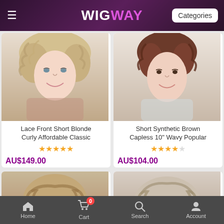WIG WAY — Categories
[Figure (photo): Woman wearing a short blonde curly lace front wig, wearing a mauve top]
Lace Front Short Blonde Curly Affordable Classic
★★★★★
AU$149.00
[Figure (photo): Woman wearing a short synthetic brown wavy capless wig, wearing a light blue top]
Short Synthetic Brown Capless 10" Wavy Popular
★★★★☆
AU$104.00
[Figure (photo): Partial view of wig product, bottom left card]
[Figure (photo): Partial view of wig product, bottom right card]
Home   Cart (0)   Search   Account